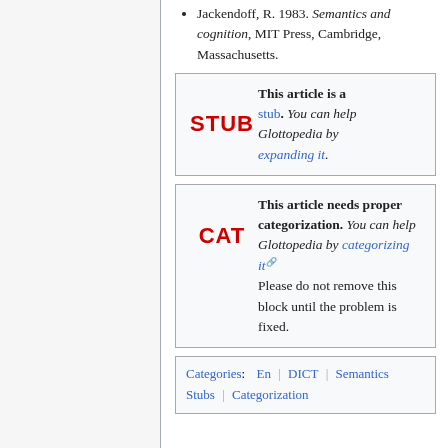Jackendoff, R. 1983. Semantics and cognition, MIT Press, Cambridge, Massachusetts.
STUB — This article is a stub. You can help Glottopedia by expanding it.
CAT — This article needs proper categorization. You can help Glottopedia by categorizing it. Please do not remove this block until the problem is fixed.
Categories: En | DICT | Semantics | Stubs | Categorization needed